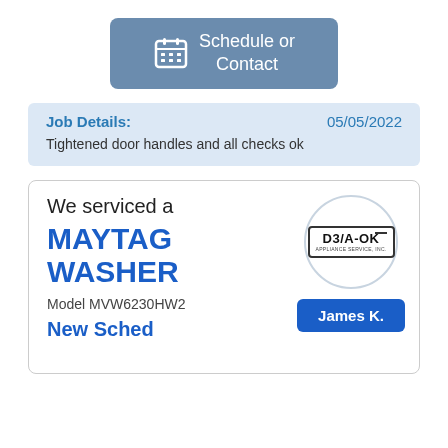[Figure (other): Blue-grey rounded button with calendar icon and text 'Schedule or Contact']
Job Details: 05/05/2022
Tightened door handles and all checks ok
We serviced a
MAYTAG WASHER
Model MVW6230HW2
[Figure (logo): D3/A-OK Appliance Service Inc logo inside a circle]
James K.
New Sched...